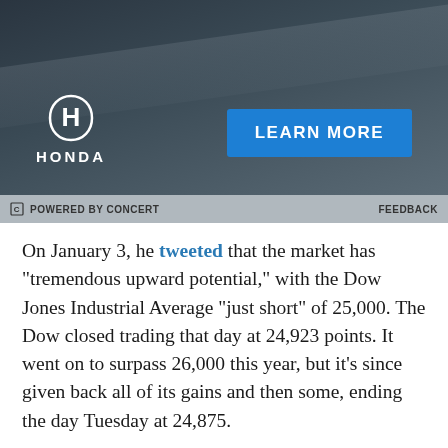[Figure (other): Honda advertisement banner with dark blue-grey gradient background, Honda H logo and HONDA wordmark on the left, blue LEARN MORE button on the right]
POWERED BY CONCERT   FEEDBACK
On January 3, he tweeted that the market has “tremendous upward potential,” with the Dow Jones Industrial Average “just short” of 25,000. The Dow closed trading that day at 24,923 points. It went on to surpass 26,000 this year, but it’s since given back all of its gains and then some, ending the day Tuesday at 24,875.
The tweet from Tuesday was aimed at bolstering Trump’s closing argument before the midterms. But it also suggests he might be a little nervous about the market and what’s next.